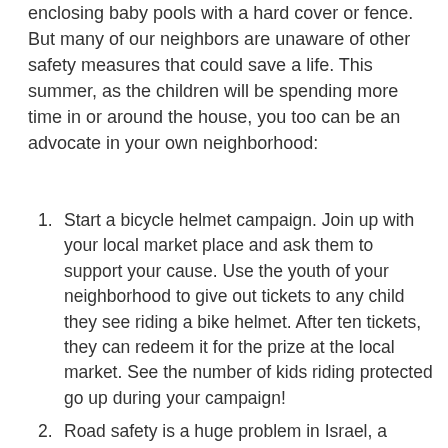enclosing baby pools with a hard cover or fence. But many of our neighbors are unaware of other safety measures that could save a life. This summer, as the children will be spending more time in or around the house, you too can be an advocate in your own neighborhood:
Start a bicycle helmet campaign. Join up with your local market place and ask them to support your cause. Use the youth of your neighborhood to give out tickets to any child they see riding a bike helmet. After ten tickets, they can redeem it for the prize at the local market. See the number of kids riding protected go up during your campaign!
Road safety is a huge problem in Israel, a major cause of deaths and hospitalizations among children. Have your local camp ask the kids to work on posters that post speed limits and display them on street signs around the neighborhood. This will wake up the